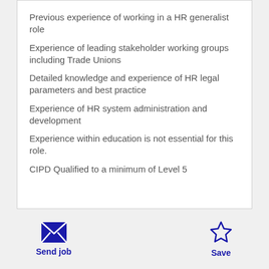Previous experience of working in a HR generalist role
Experience of leading stakeholder working groups including Trade Unions
Detailed knowledge and experience of HR legal parameters and best practice
Experience of HR system administration and development
Experience within education is not essential for this role.
CIPD Qualified to a minimum of Level 5
Send job  Save